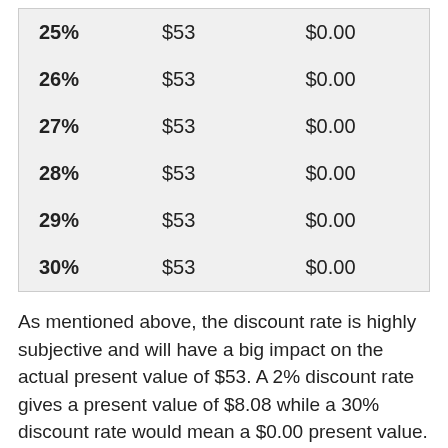| 25% | $53 | $0.00 |
| 26% | $53 | $0.00 |
| 27% | $53 | $0.00 |
| 28% | $53 | $0.00 |
| 29% | $53 | $0.00 |
| 30% | $53 | $0.00 |
As mentioned above, the discount rate is highly subjective and will have a big impact on the actual present value of $53. A 2% discount rate gives a present value of $8.08 while a 30% discount rate would mean a $0.00 present value.
The rate you choose should be somewhat